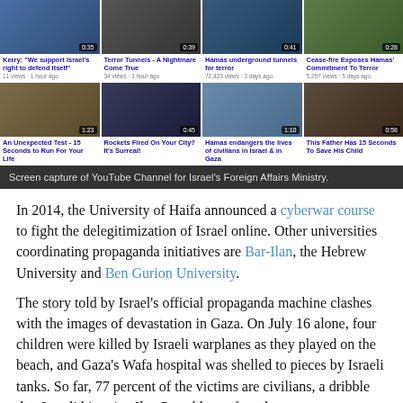[Figure (screenshot): Screen capture of YouTube Channel for Israel's Foreign Affairs Ministry showing 8 video thumbnails in a 4x2 grid with titles and view counts]
Screen capture of YouTube Channel for Israel's Foreign Affairs Ministry.
In 2014, the University of Haifa announced a cyberwar course to fight the delegitimization of Israel online. Other universities coordinating propaganda initiatives are Bar-Ilan, the Hebrew University and Ben Gurion University.
The story told by Israel's official propaganda machine clashes with the images of devastation in Gaza. On July 16 alone, four children were killed by Israeli warplanes as they played on the beach, and Gaza's Wafa hospital was shelled to pieces by Israeli tanks. So far, 77 percent of the victims are civilians, a dribble that Israeli historian Ilan Pappé has referred to as an "incremental genocide"